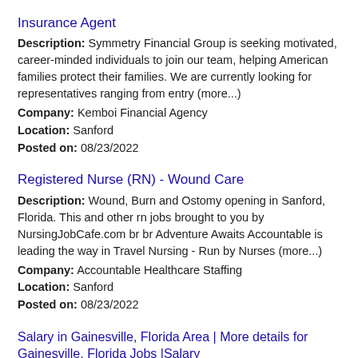Insurance Agent
Description: Symmetry Financial Group is seeking motivated, career-minded individuals to join our team, helping American families protect their families. We are currently looking for representatives ranging from entry (more...)
Company: Kemboi Financial Agency
Location: Sanford
Posted on: 08/23/2022
Registered Nurse (RN) - Wound Care
Description: Wound, Burn and Ostomy opening in Sanford, Florida. This and other rn jobs brought to you by NursingJobCafe.com br br Adventure Awaits Accountable is leading the way in Travel Nursing - Run by Nurses (more...)
Company: Accountable Healthcare Staffing
Location: Sanford
Posted on: 08/23/2022
Salary in Gainesville, Florida Area | More details for Gainesville, Florida Jobs |Salary
Line Cooks and Prep Cooks - Lake Mary
Description: As a Tijuana Flats Team Member, you'll ensure Tijuana